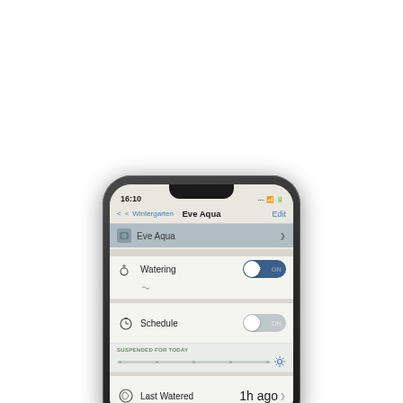[Figure (screenshot): iPhone X showing Eve Aqua smart watering app. Screen displays: time 16:10, navigation bar with back button 'Wintergarten', title 'Eve Aqua', Edit button. Below: Eve Aqua header row, Watering row with OFF/ON toggle (OFF selected), Schedule row with grayed toggle and 'SUSPENDED FOR TODAY' slider sub-row with gear icon, Last Watered showing '1h ago ▶', and partial Default Duration row showing '10'.]